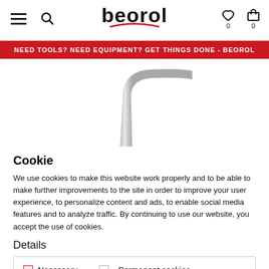beorol
NEED TOOLS? NEED EQUIPMENT? GET THINGS DONE - BEOROL
[Figure (photo): Partial image of a metallic Allen/hex wrench or bent tool against a white background]
Cookie
We use cookies to make this website work properly and to be able to make further improvements to the site in order to improve your user experience, to personalize content and ads, to enable social media features and to analyze traffic. By continuing to use our website, you accept the use of cookies.
Details
Necessary  Permanent cookies  Statistical cookies  Marketing cookies  I agree  Learn more